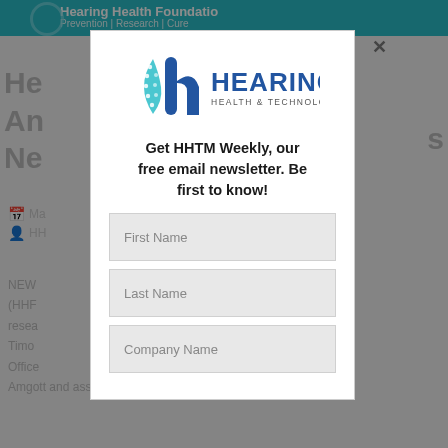[Figure (screenshot): Background webpage showing Hearing Health Foundation article, partially obscured by modal overlay]
[Figure (logo): Hearing Health & Technology Matters logo — stylized teal/blue 'h' icon with dot pattern and company name text]
Get HHTM Weekly, our free email newsletter. Be first to know!
First Name
Last Name
Company Name